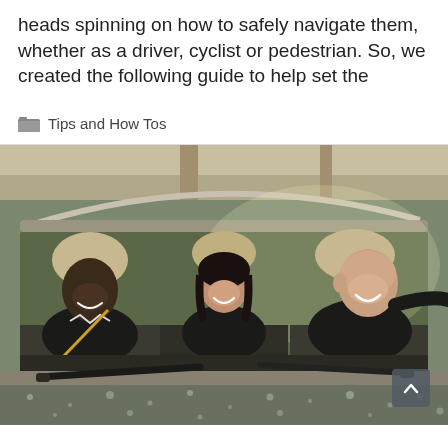heads spinning on how to safely navigate them, whether as a driver, cyclist or pedestrian. So, we created the following guide to help set the
Tips and How Tos
[Figure (photo): View through wet windshield of three people sitting in a car — a man on the left, a woman in the center, and a man on the right who is driving, all smiling. Windshield wipers are visible at the bottom.]